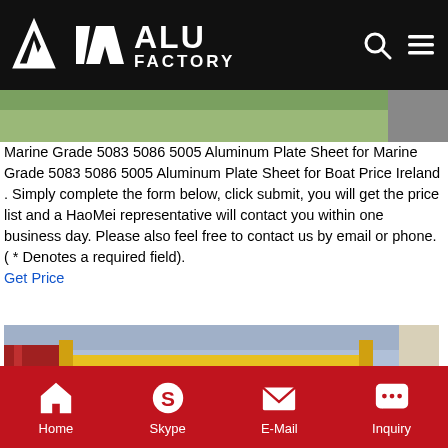ALU FACTORY
[Figure (photo): Top strip showing warehouse/industrial setting background image]
Marine Grade 5083 5086 5005 Aluminum Plate Sheet for Marine Grade 5083 5086 5005 Aluminum Plate Sheet for Boat Price Ireland . Simply complete the form below, click submit, you will get the price list and a HaoMei representative will contact you within one business day. Please also feel free to contact us by email or phone. ( * Denotes a required field).
Get Price
[Figure (photo): Photo of a large silver aluminum coil/roll wrapped in protective film, sitting in an industrial factory setting with yellow crane structure visible in background]
Home  Skype  E-Mail  Inquiry